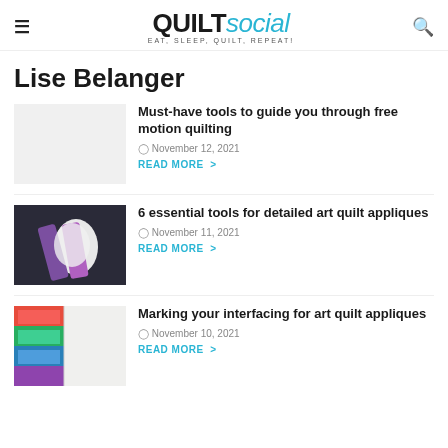QUILTsocial — EAT, SLEEP, QUILT, REPEAT!
Lise Belanger
[Figure (photo): Blank placeholder thumbnail for first article]
Must-have tools to guide you through free motion quilting
November 12, 2021
READ MORE >
[Figure (photo): Photo of scissors cutting white paper/fabric with purple handles on dark background]
6 essential tools for detailed art quilt appliques
November 11, 2021
READ MORE >
[Figure (photo): Colorful fabric swatches with red, green, blue tones next to white interfacing]
Marking your interfacing for art quilt appliques
November 10, 2021
READ MORE >